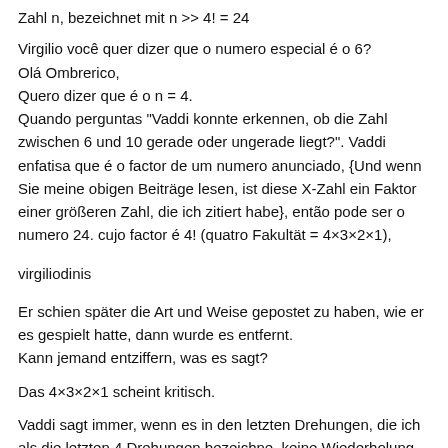Zahl n, bezeichnet mit n >> 4! = 24
Virgilio você quer dizer que o numero especial é o 6?
Olá Ombrerico,
Quero dizer que é o n = 4.
Quando perguntas "Vaddi konnte erkennen, ob die Zahl zwischen 6 und 10 gerade oder ungerade liegt?". Vaddi enfatisa que é o factor de um numero anunciado, {Und wenn Sie meine obigen Beiträge lesen, ist diese X-Zahl ein Faktor einer größeren Zahl, die ich zitiert habe}, então pode ser o numero 24. cujo factor é 4! (quatro Fakultät = 4×3×2×1),
virgiliodinis
Er schien später die Art und Weise gepostet zu haben, wie er es gespielt hatte, dann wurde es entfernt.
Kann jemand entziffern, was es sagt?
Das 4×3×2×1 scheint kritisch.
Vaddi sagt immer, wenn es in den letzten Drehungen, die ich als die letzten 4 Drehungen bezeichne, keine Wiederholung gibt, wird